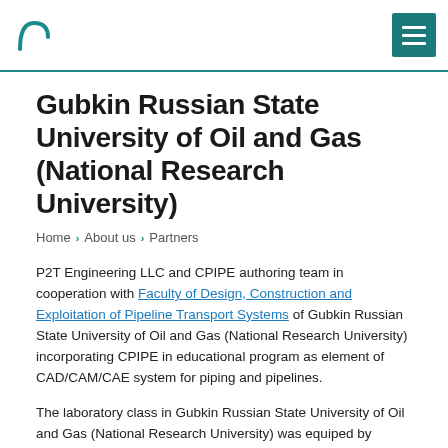Gubkin Russian State University of Oil and Gas (National Research University) — site header with logo and hamburger menu
Gubkin Russian State University of Oil and Gas (National Research University)
Home › About us › Partners
P2T Engineering LLC and CPIPE authoring team in cooperation with Faculty of Design, Construction and Exploitation of Pipeline Transport Systems of Gubkin Russian State University of Oil and Gas (National Research University) incorporating CPIPE in educational program as element of CAD/CAM/CAE system for piping and pipelines.
The laboratory class in Gubkin Russian State University of Oil and Gas (National Research University) was equiped by CPIPE University version